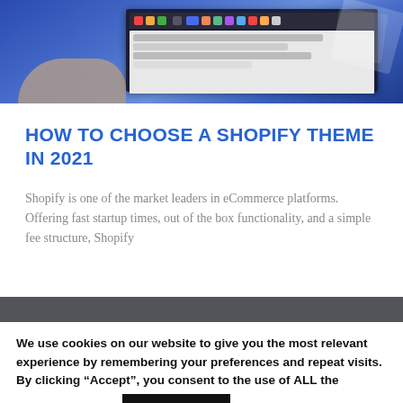[Figure (photo): Partial screenshot of a laptop/computer screen showing a webpage, on a blue/purple background, viewed from above. The screen shows app icons in a dock bar and browser content.]
HOW TO CHOOSE A SHOPIFY THEME IN 2021
Shopify is one of the market leaders in eCommerce platforms. Offering fast startup times, out of the box functionality, and a simple fee structure, Shopify
We use cookies on our website to give you the most relevant experience by remembering your preferences and repeat visits. By clicking “Accept”, you consent to the use of ALL the cookies. Do not sell my personal information.
Cookie settings
ACCEPT